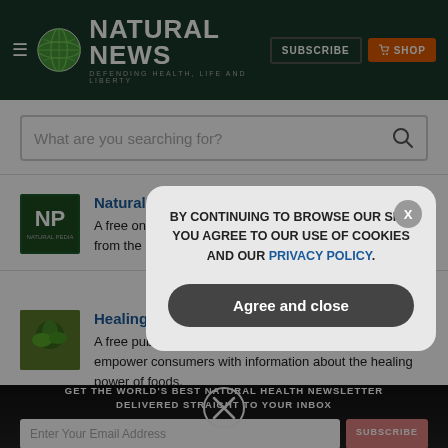[Figure (screenshot): Natural News website header with globe logo, NATURAL NEWS text, DEFENDING HEALTH, LIFE AND LIBERTY tagline, hamburger menu, SUBSCRIBE and SHOP buttons on dark green background]
[Figure (screenshot): Search bar with placeholder text 'What are you searching for?' and magnifying glass icon]
NaturalPedia.com
A free online encyclopedia of natural health knowledge from the industry's top authors and writers.
HealingFoodReference.com
A free public service to promote health freedom and empower consumers with information about the healing power of foods.
GET THE WORLD'S BEST NATURAL HEALTH NEWSLETTER DELIVERED STRAIGHT TO YOUR INBOX
BY CONTINUING TO BROWSE OUR SITE YOU AGREE TO OUR USE OF COOKIES AND OUR PRIVACY POLICY.
Agree and close